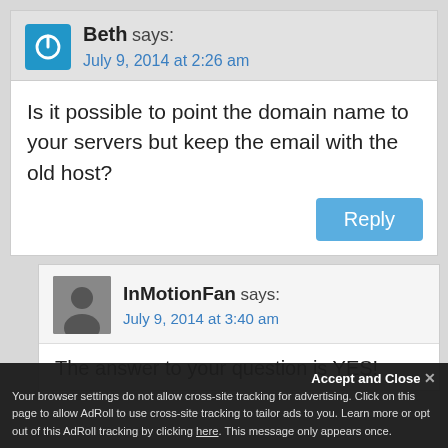Beth says:
July 9, 2014 at 2:26 am
Is it possible to point the domain name to your servers but keep the email with the old host?
Reply
InMotionFan says:
July 9, 2014 at 3:40 am
The answer to your question is YES!
Accept and Close
Your browser settings do not allow cross-site tracking for advertising. Click on this page to allow AdRoll to use cross-site tracking to tailor ads to you. Learn more or opt out of this AdRoll tracking by clicking here. This message only appears once.